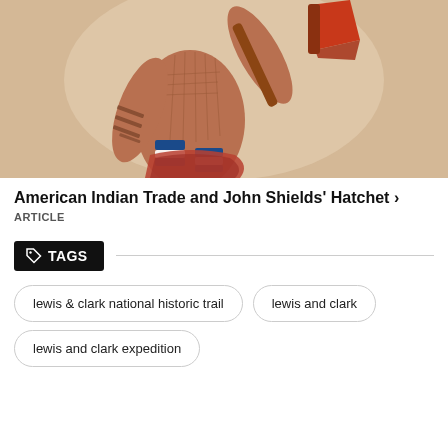[Figure (illustration): Painting of a Native American figure holding a hatchet with a red blade and a handle decorated with blue and white beading, shirtless with tattoos on arms and wearing a red garment around the waist, against a light background.]
American Indian Trade and John Shields' Hatchet >
ARTICLE
TAGS
lewis & clark national historic trail
lewis and clark
lewis and clark expedition